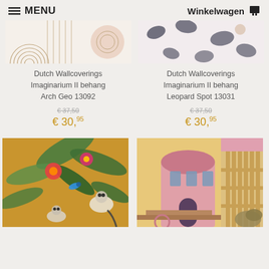MENU   Winkelwagen
[Figure (photo): Wallpaper pattern: abstract arch geometric shapes in beige/pink tones]
[Figure (photo): Wallpaper pattern: leopard spot print in grey/pink on light background]
Dutch Wallcoverings Imaginarium II behang Arch Geo 13092
Dutch Wallcoverings Imaginarium II behang Leopard Spot 13031
€ 37,50 (strikethrough) € 30,95
€ 37,50 (strikethrough) € 30,95
[Figure (photo): Tropical wallpaper with lemurs, birds, and exotic flowers on golden/mustard background]
[Figure (photo): Architectural illustration wallpaper with pink and beige building arches and geometric patterns]